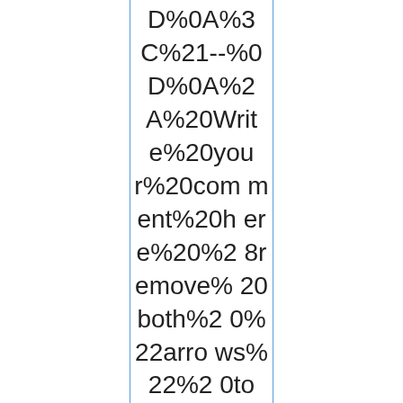D%0A%3C%21--%0D%0A%2A%20Write%20your%20comment%20here%20%28remove%20both%20%22arrows%22%20top%20and%20bottom%29%0D%0A%2A%20Pipe%20signs%20%22%7C%22%20MUS T%20be%20%